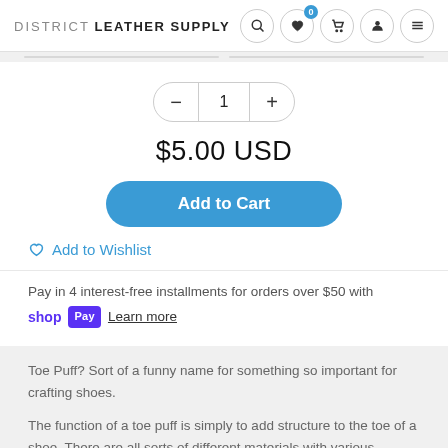DISTRICT LEATHER SUPPLY
1
$5.00 USD
Add to Cart
Add to Wishlist
Pay in 4 interest-free installments for orders over $50 with shop Pay Learn more
Toe Puff? Sort of a funny name for something so important for crafting shoes.
The function of a toe puff is simply to add structure to the toe of a shoe. There are all sorts of different materials with various properties that can be used for toe puffs. The